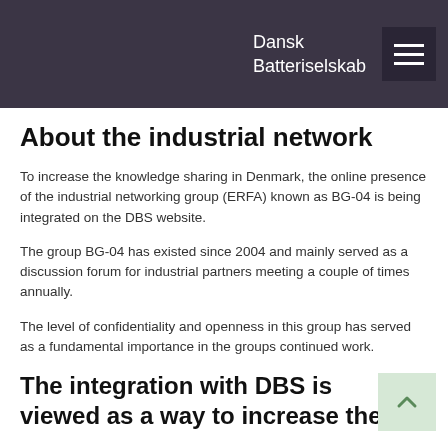Dansk Batteriselskab
About the industrial network
To increase the knowledge sharing in Denmark, the online presence of the industrial networking group (ERFA) known as BG-04 is being integrated on the DBS website.
The group BG-04 has existed since 2004 and mainly served as a discussion forum for industrial partners meeting a couple of times annually.
The level of confidentiality and openness in this group has served as a fundamental importance in the groups continued work.
The integration with DBS is viewed as a way to increase the